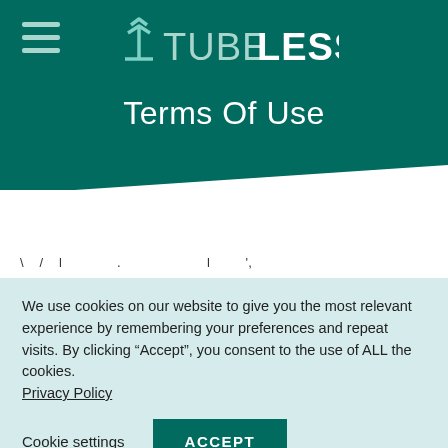[Figure (logo): Tubeless logo with upward arrow chevron icon in teal/mint color on dark teal background header]
Terms Of Use
We use cookies on our website to give you the most relevant experience by remembering your preferences and repeat visits. By clicking “Accept”, you consent to the use of ALL the cookies. Privacy Policy
Cookie settings
ACCEPT